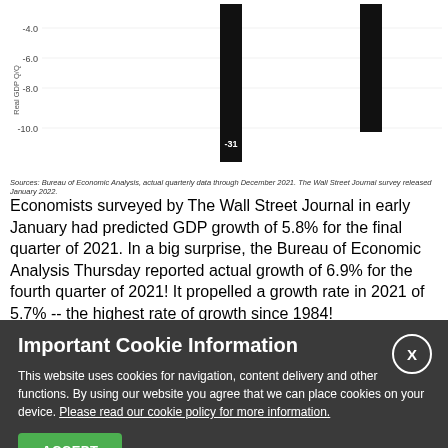[Figure (continuous-plot): Partial bar chart showing Real GDP Q/Q growth rate, with y-axis values of -4.0, -6.0, -8.0, -10.0 visible, and a data label of -31 on one bar. Two downward bars visible.]
Sources: Bureau of Economic Analysis, actual quarterly data through December 2021. The Wall Street Journal survey released January 2022.
Economists surveyed by The Wall Street Journal in early January had predicted GDP growth of 5.8% for the final quarter of 2021. In a big surprise, the Bureau of Economic Analysis Thursday reported actual growth of 6.9% for the fourth quarter of 2021! It propelled a growth rate in 2021 of 5.7% -- the highest rate of growth since 1984!
With economists underestimating the strength of the U.S., economy at the end of 2021, it's likely their forecasts for the current quarter are also low.
The Standard & Poor's 500
January 4, 1999 through January 28, 2022
Important Cookie Information
This website uses cookies for navigation, content delivery and other functions. By using our website you agree that we can place cookies on your device. Please read our cookie policy for more information.